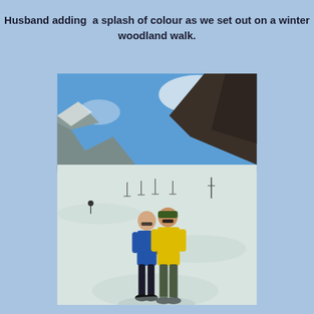Husband adding  a splash of colour as we set out on a winter woodland walk.
[Figure (photo): Two people standing on a snowy alpine landscape with mountains and blue sky in the background. One person wears a blue top, the other a yellow top. Ski infrastructure is visible in the distance.]